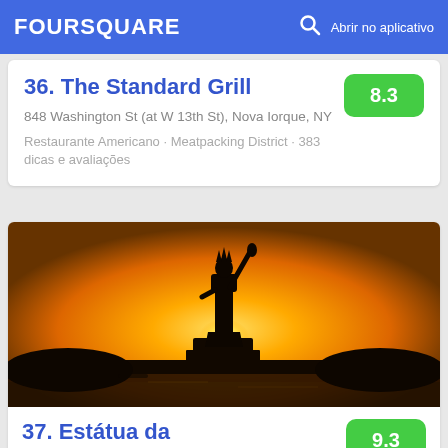FOURSQUARE  Abrir no aplicativo
36. The Standard Grill
848 Washington St (at W 13th St), Nova Iorque, NY
Restaurante Americano · Meatpacking District · 383 dicas e avaliações
8.3
[Figure (photo): Silhouette of the Statue of Liberty against a golden sunset sky, with dark water and trees in the foreground]
37. Estátua da Liberdade
9.3